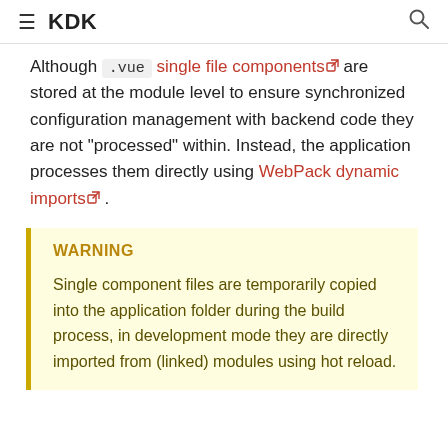KDK
Although .vue single file components are stored at the module level to ensure synchronized configuration management with backend code they are not "processed" within. Instead, the application processes them directly using WebPack dynamic imports .
WARNING
Single component files are temporarily copied into the application folder during the build process, in development mode they are directly imported from (linked) modules using hot reload.